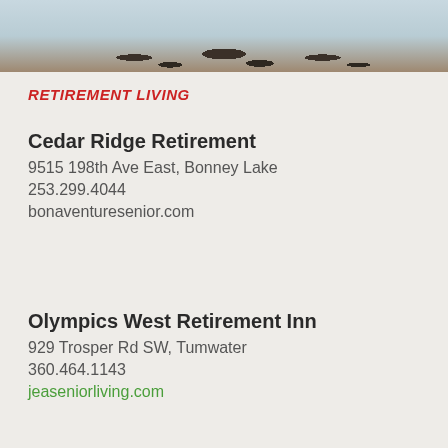[Figure (photo): Photo strip at top showing people sitting cross-legged on a floor, feet visible, yoga or meditation setting]
RETIREMENT LIVING
Cedar Ridge Retirement
9515 198th Ave East, Bonney Lake
253.299.4044
bonaventuresenior.com
Olympics West Retirement Inn
929 Trosper Rd SW, Tumwater
360.464.1143
jeaseniorliving.com